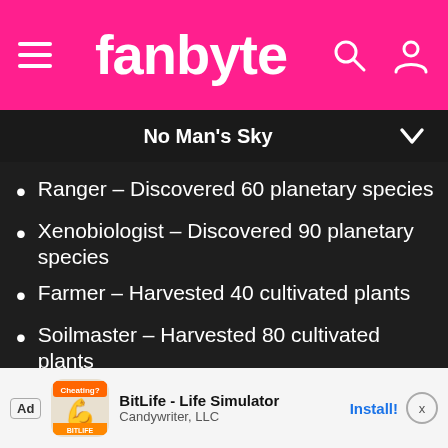fanbyte
No Man's Sky
Ranger – Discovered 60 planetary species
Xenobiologist – Discovered 90 planetary species
Farmer – Harvested 40 cultivated plants
Soilmaster – Harvested 80 cultivated plants
Analyst – Scanned 10 rare plants and animals
Researcher – Scanned 25 rare plants and animals
Archivist – Scanned 50 rare plants and
Ad  BitLife - Life Simulator  Candywriter, LLC  Install!